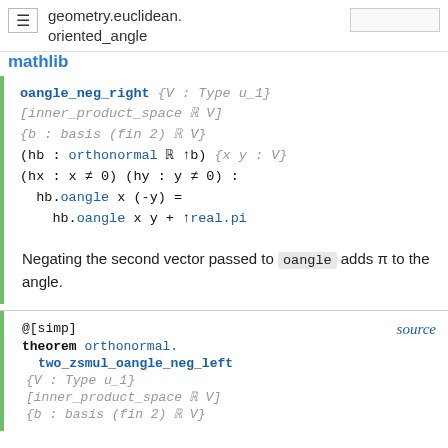≡  geometry.euclidean.
       oriented_angle
mathlib
oangle_neg_right {V : Type u_1}
[inner_product_space ℝ V]
{b : basis (fin 2) ℝ V}
(hb : orthonormal ℝ ↑b) {x y : V}
(hx : x ≠ 0) (hy : y ≠ 0) :
hb.oangle x (-y) =
hb.oangle x y + ↑real.pi
Negating the second vector passed to oangle adds π to the angle.
@[simp]
theorem orthonormal.
    two_zsmul_oangle_neg_left
{V : Type u_1}
[inner_product_space ℝ V]
{b : basis (fin 2) ℝ V}
source